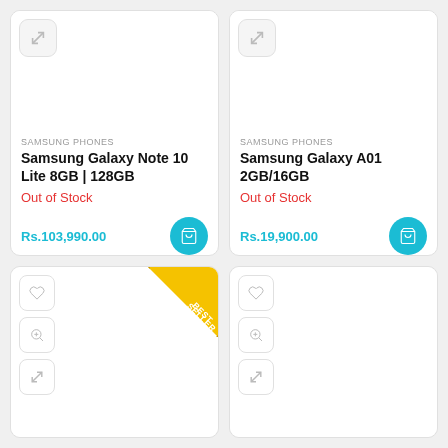[Figure (screenshot): Samsung Galaxy Note 10 Lite 8GB|128GB product card with expand icon, Out of Stock label, price Rs.103,990.00 and add to cart button]
SAMSUNG PHONES
Samsung Galaxy Note 10 Lite 8GB | 128GB
Out of Stock
Rs.103,990.00
[Figure (screenshot): Samsung Galaxy A01 2GB/16GB product card with expand icon, Out of Stock label, price Rs.19,900.00 and add to cart button]
SAMSUNG PHONES
Samsung Galaxy A01 2GB/16GB
Out of Stock
Rs.19,900.00
[Figure (screenshot): Best Seller ribbon product card with heart, zoom, and expand icons visible]
[Figure (screenshot): Product card with heart, zoom, and expand icons visible]